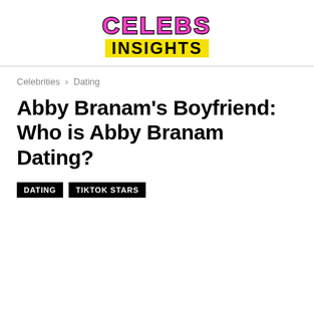[Figure (logo): Celebs Insights logo with colorful bubbly 'CELEBS' text in pink/cyan/yellow on top and bold black 'INSIGHTS' text on yellow background below]
Celebrities › Dating
Abby Branam's Boyfriend: Who is Abby Branam Dating?
DATING
TIKTOK STARS